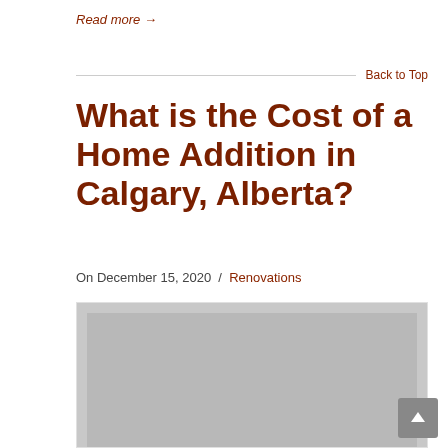Read more →
Back to Top
What is the Cost of a Home Addition in Calgary, Alberta?
On December 15, 2020  /  Renovations
[Figure (photo): Gray placeholder image for a home addition article]